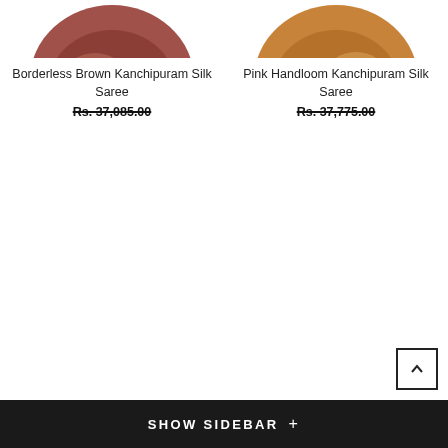[Figure (photo): Partial top view of a brown silk saree folded/draped]
Borderless Brown Kanchipuram Silk Saree
Rs. 37,085.00
[Figure (photo): Partial top view of a pink/orange handloom silk saree folded/draped]
Pink Handloom Kanchipuram Silk Saree
Rs. 37,775.00
SHOW SIDEBAR +